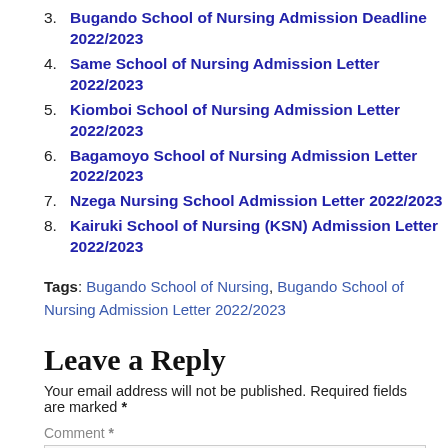3. Bugando School of Nursing Admission Deadline 2022/2023
4. Same School of Nursing Admission Letter 2022/2023
5. Kiomboi School of Nursing Admission Letter 2022/2023
6. Bagamoyo School of Nursing Admission Letter 2022/2023
7. Nzega Nursing School Admission Letter 2022/2023
8. Kairuki School of Nursing (KSN) Admission Letter 2022/2023
Tags: Bugando School of Nursing, Bugando School of Nursing Admission Letter 2022/2023
Leave a Reply
Your email address will not be published. Required fields are marked *
Comment *